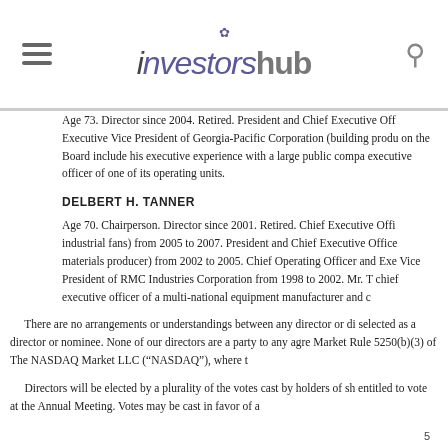investorshub
Age 73. Director since 2004. Retired. President and Chief Executive Off Executive Vice President of Georgia-Pacific Corporation (building produ on the Board include his executive experience with a large public compa executive officer of one of its operating units.
DELBERT H. TANNER
Age 70. Chairperson. Director since 2001. Retired. Chief Executive Offi industrial fans) from 2005 to 2007. President and Chief Executive Office materials producer) from 2002 to 2005. Chief Operating Officer and Exe Vice President of RMC Industries Corporation from 1998 to 2002. Mr. T chief executive officer of a multi-national equipment manufacturer and c
There are no arrangements or understandings between any director or di selected as a director or nominee. None of our directors are a party to any agre Market Rule 5250(b)(3) of The NASDAQ Market LLC (“NASDAQ”), where t
Directors will be elected by a plurality of the votes cast by holders of sh entitled to vote at the Annual Meeting. Votes may be cast in favor of a
5